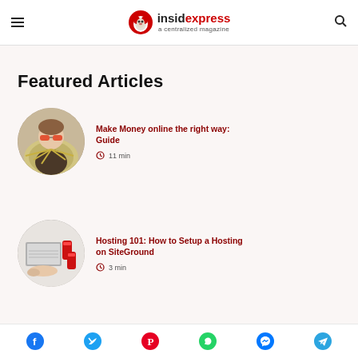insidexpress — a centralized magazine
Featured Articles
[Figure (photo): Circular thumbnail of a person wearing sunglasses holding a fan of money]
Make Money online the right way: Guide
11 min
[Figure (photo): Circular thumbnail of a laptop with red cans and hands on a white surface]
Hosting 101: How to Setup a Hosting on SiteGround
3 min
Social icons: Facebook, Twitter, Pinterest, WhatsApp, Messenger, Telegram